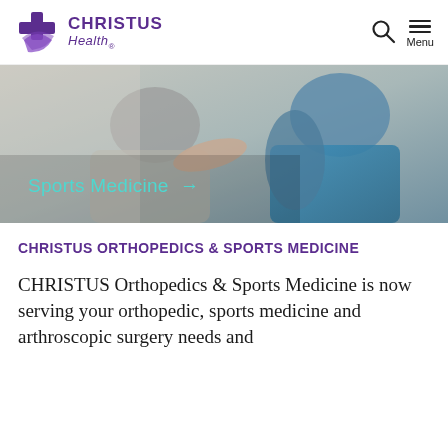CHRISTUS Health
[Figure (photo): A physical therapist or doctor working on a patient's shoulder/arm. The patient is wearing a blue shirt. Overlay text reads 'Sports Medicine →'.]
CHRISTUS ORTHOPEDICS & SPORTS MEDICINE
CHRISTUS Orthopedics & Sports Medicine is now serving your orthopedic, sports medicine and arthroscopic surgery needs and